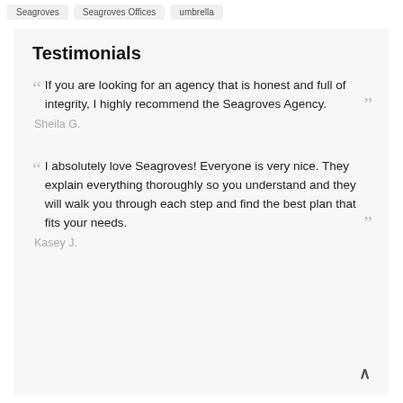Seagroves   Seagroves Offices   umbrella
Testimonials
If you are looking for an agency that is honest and full of integrity, I highly recommend the Seagroves Agency.
Sheila G.
I absolutely love Seagroves! Everyone is very nice. They explain everything thoroughly so you understand and they will walk you through each step and find the best plan that fits your needs.
Kasey J.